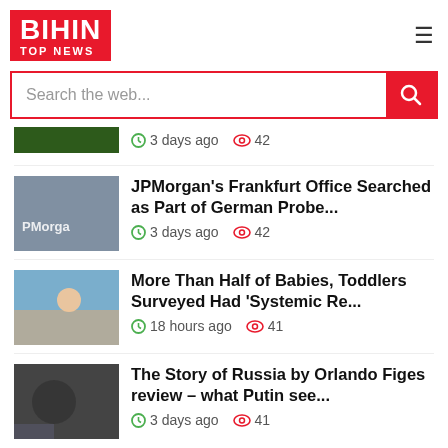BIHIN TOP NEWS
Search the web...
3 days ago  42
JPMorgan's Frankfurt Office Searched as Part of German Probe...
3 days ago  42
More Than Half of Babies, Toddlers Surveyed Had 'Systemic Re...
18 hours ago  41
The Story of Russia by Orlando Figes review – what Putin see...
3 days ago  41